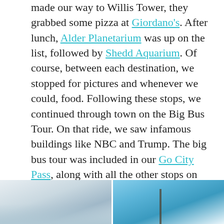made our way to Willis Tower, they grabbed some pizza at Giordano's. After lunch, Alder Planetarium was up on the list, followed by Shedd Aquarium. Of course, between each destination, we stopped for pictures and whenever we could, food. Following these stops, we continued through town on the Big Bus Tour. On that ride, we saw infamous buildings like NBC and Trump. The big bus tour was included in our Go City Pass, along with all the other stops on our trip. Honestly, the Go City Pass was awesome! I loved the experience so much, I've since used it in other cities I've visited. It was great to know that you have options, and don't have to pay out of pocket more than the ticket amount, to see a cities top attractions.
[Figure (photo): Photo showing a winter cityscape or lakefront scene, partial view at bottom left]
[Figure (photo): Photo showing a blue sky with what appears to be a tall structure or mast, partial view at bottom right]